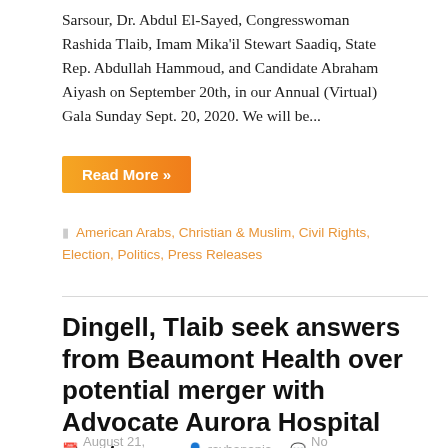Sarsour, Dr. Abdul El-Sayed, Congresswoman Rashida Tlaib, Imam Mika'il Stewart Saadiq, State Rep. Abdullah Hammoud, and Candidate Abraham Aiyash on September 20th, in our Annual (Virtual) Gala Sunday Sept. 20, 2020. We will be...
Read More »
American Arabs, Christian & Muslim, Civil Rights, Election, Politics, Press Releases
Dingell, Tlaib seek answers from Beaumont Health over potential merger with Advocate Aurora Hospital Systems
August 21, 2020   rayhanania   No Comments